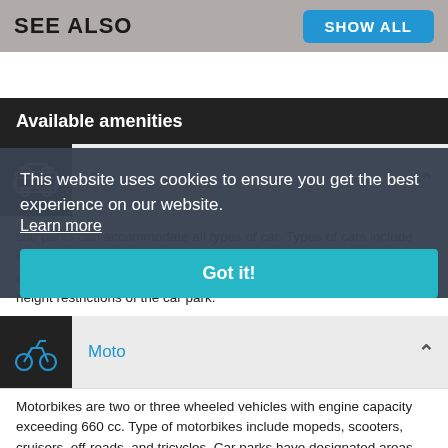SEE ALSO
Available amenities
Car
Car parks can accommodate all types of car. Types of cars include sedans, station wagons, mini vans, sports, and luxury vehicles that are equipped with standard car accessories and does not exceed the height restrictions of the car park.
Moto
Motorbikes are two or three wheeled vehicles with engine capacity exceeding 660 cc. Type of motorbikes include mopeds, scooters, cruisers, off-roads, and tricycles. Car parks have designated areas for
This website uses cookies to ensure you get the best experience on our website. Learn more Got it!